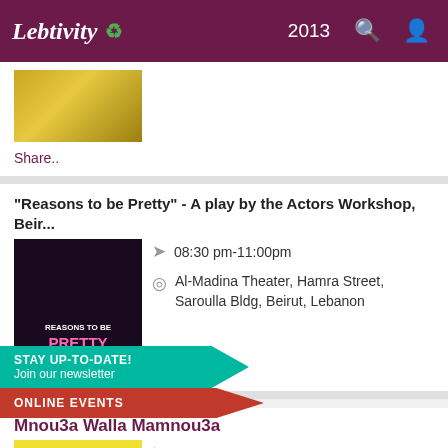Lebtivity 2013
[Figure (screenshot): Partial image of golden/yellow texture at top of first card]
Share..
"Reasons to be Pretty" - A play by the Actors Workshop, Beir...
[Figure (photo): Movie poster for Reasons to be Pretty showing two people]
08:30 pm-11:00pm
Al-Madina Theater, Hamra Street, Saroulla Bldg, Beirut, Lebanon
Share..
[Figure (infographic): STAY UP-TO-DATE! Join our newsletter teal banner]
[Figure (infographic): ONLINE EVENTS red ribbon banner]
Mnou3a Walla Mamnou3a
[Figure (photo): Mnou3a Wala Mamnou3a comedy show poster with cast on yellow background]
08:30 pm-12:00am
Crowne Plaza Hotel, Hamra